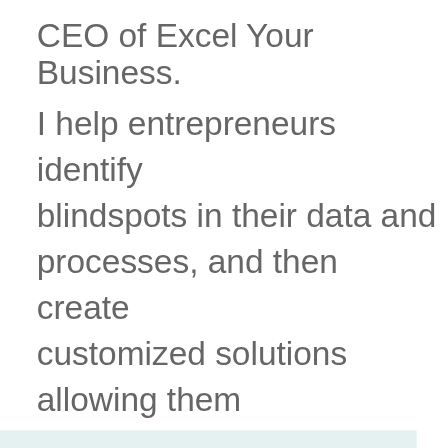CEO of Excel Your Business.
I help entrepreneurs identify blindspots in their data and processes, and then create customized solutions allowing them
This website uses cookies to ensure you get the best experience on our website.
Learn more
Got it!